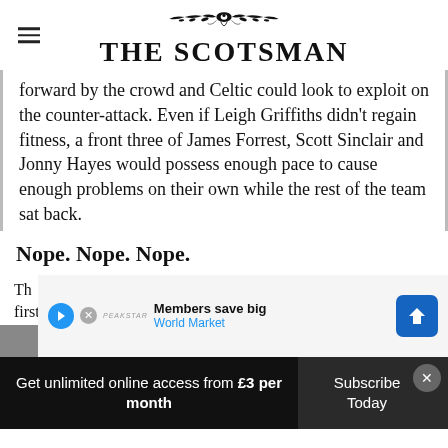THE SCOTSMAN
forward by the crowd and Celtic could look to exploit on the counter-attack. Even if Leigh Griffiths didn't regain fitness, a front three of James Forrest, Scott Sinclair and Jonny Hayes would possess enough pace to cause enough problems on their own while the rest of the team sat back.
Nope. Nope. Nope.
The ... the first half in terms of the pattern of play. Celtic ...
Get unlimited online access from £3 per month
Subscribe Today